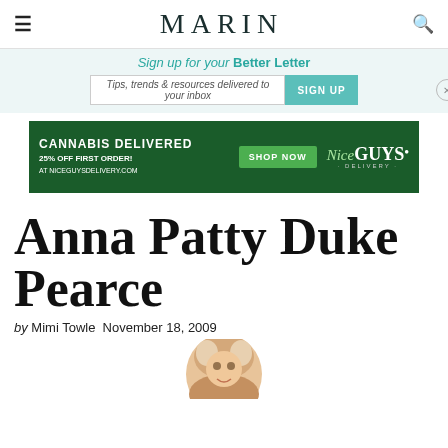MARIN
Sign up for your Better Letter
Tips, trends & resources delivered to your inbox   SIGN UP
[Figure (other): Cannabis Delivered advertisement banner. Green background. Text: CANNABIS DELIVERED, 25% OFF FIRST ORDER! AT NICEGUYSDELIVERY.COM, SHOP NOW button, Nice Guys Delivery logo.]
Anna Patty Duke Pearce
by Mimi Towle  November 18, 2009
[Figure (photo): Partial photo of a smiling older blonde woman, cropped at top of page.]